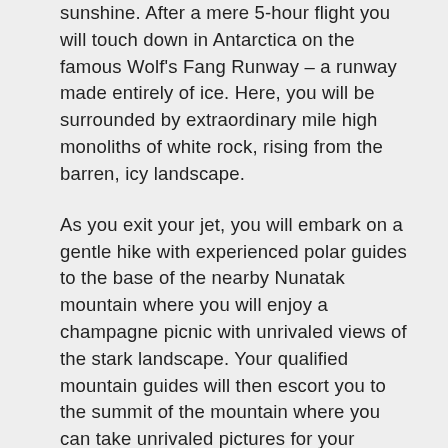sunshine. After a mere 5-hour flight you will touch down in Antarctica on the famous Wolf's Fang Runway – a runway made entirely of ice. Here, you will be surrounded by extraordinary mile high monoliths of white rock, rising from the barren, icy landscape.
As you exit your jet, you will embark on a gentle hike with experienced polar guides to the base of the nearby Nunatak mountain where you will enjoy a champagne picnic with unrivaled views of the stark landscape. Your qualified mountain guides will then escort you to the summit of the mountain where you can take unrivaled pictures for your adventure bucket list. If you would prefer not to hike, there is also the